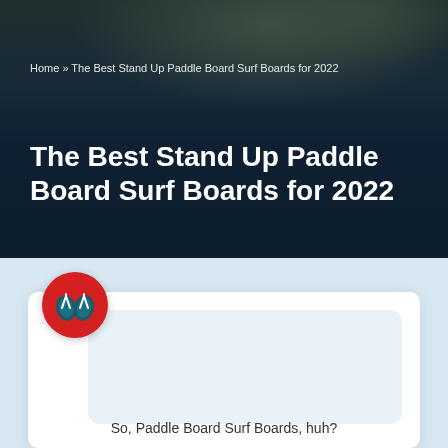[Figure (photo): Hero image of a woman sitting on a stand up paddle board on dark water with rocky cliffs in background, overlaid with dark tint]
Home » The Best Stand Up Paddle Board Surf Boards for 2022
The Best Stand Up Paddle Board Surf Boards for 2022
[Figure (logo): Round red circle logo with two flip flop sandal icons in teal/dark teal color]
So, Paddle Board Surf Boards, huh?